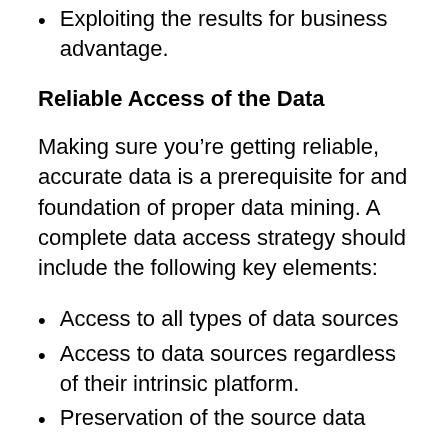Exploiting the results for business advantage.
Reliable Access of the Data
Making sure you’re getting reliable, accurate data is a prerequisite for and foundation of proper data mining. A complete data access strategy should include the following key elements:
Access to all types of data sources
Access to data sources regardless of their intrinsic platform.
Preservation of the source data